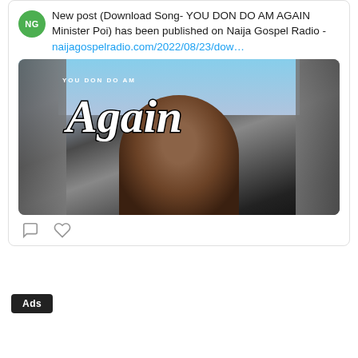New post (Download Song- YOU DON DO AM AGAIN Minister Poi) has been published on Naija Gospel Radio -
naijagospelradio.com/2022/08/23/dow…
[Figure (photo): Music single cover art for 'YOU DON DO AM Again' by Minister Poi, showing stylized cursive text 'Again' with 'YOU DON DO AM' above, over a close-up photo of a man's face, with city buildings in the background.]
Ads